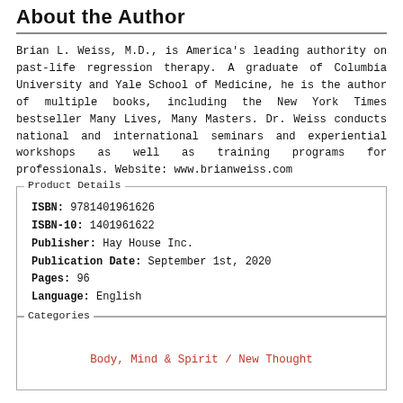About the Author
Brian L. Weiss, M.D., is America's leading authority on past-life regression therapy. A graduate of Columbia University and Yale School of Medicine, he is the author of multiple books, including the New York Times bestseller Many Lives, Many Masters. Dr. Weiss conducts national and international seminars and experiential workshops as well as training programs for professionals. Website: www.brianweiss.com
| ISBN: | 9781401961626 |
| ISBN-10: | 1401961622 |
| Publisher: | Hay House Inc. |
| Publication Date: | September 1st, 2020 |
| Pages: | 96 |
| Language: | English |
Body, Mind & Spirit / New Thought